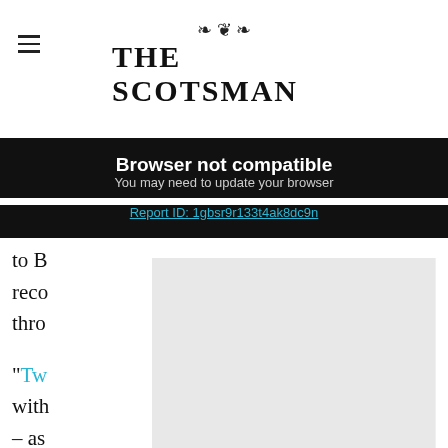THE SCOTSMAN
Browser not compatible
You may need to update your browser
Report ID: 1gbsr9r133t4ak8dc9n
to B… o reco… thro…
“Tw… with… op – as… correspondence.
[Figure (photo): Partial photo visible at bottom of page, dark/grey tones]